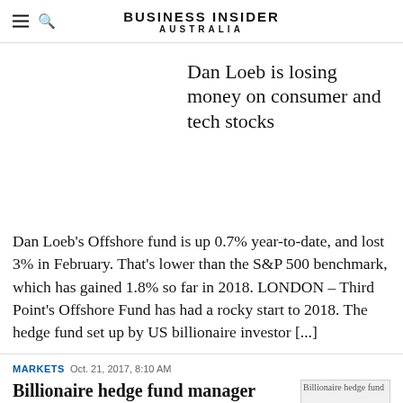BUSINESS INSIDER AUSTRALIA
Dan Loeb is losing money on consumer and tech stocks
Dan Loeb's Offshore fund is up 0.7% year-to-date, and lost 3% in February. That's lower than the S&P 500 benchmark, which has gained 1.8% so far in 2018. LONDON – Third Point's Offshore Fund has had a rocky start to 2018. The hedge fund set up by US billionaire investor [...]
MARKETS Oct. 21, 2017, 8:10 AM
Billionaire hedge fund manager Dan Loeb's Third Point is crushing the
[Figure (photo): Thumbnail image for second article about Billionaire hedge fund manager Dan Loeb]